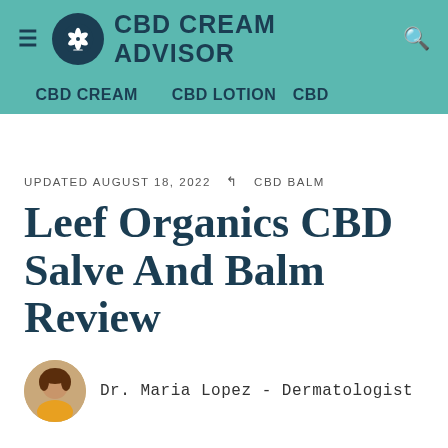CBD CREAM ADVISOR — CBD CREAM | CBD LOTION | CBD
UPDATED AUGUST 18, 2022 › CBD BALM
Leef Organics CBD Salve And Balm Review
Dr. Maria Lopez - Dermatologist